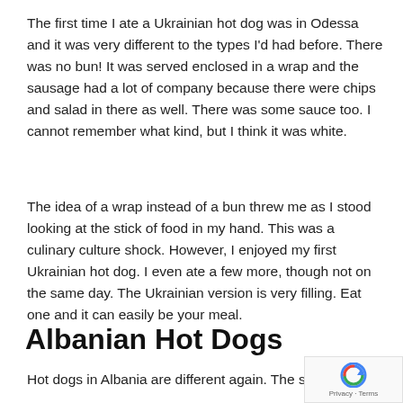The first time I ate a Ukrainian hot dog was in Odessa and it was very different to the types I'd had before. There was no bun! It was served enclosed in a wrap and the sausage had a lot of company because there were chips and salad in there as well. There was some sauce too. I cannot remember what kind, but I think it was white.
The idea of a wrap instead of a bun threw me as I stood looking at the stick of food in my hand. This was a culinary culture shock. However, I enjoyed my first Ukrainian hot dog. I even ate a few more, though not on the same day. The Ukrainian version is very filling. Eat one and it can easily be your meal.
Albanian Hot Dogs
Hot dogs in Albania are different again. The sausage is inside a bun...